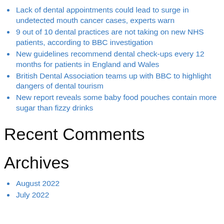Lack of dental appointments could lead to surge in undetected mouth cancer cases, experts warn
9 out of 10 dental practices are not taking on new NHS patients, according to BBC investigation
New guidelines recommend dental check-ups every 12 months for patients in England and Wales
British Dental Association teams up with BBC to highlight dangers of dental tourism
New report reveals some baby food pouches contain more sugar than fizzy drinks
Recent Comments
Archives
August 2022
July 2022